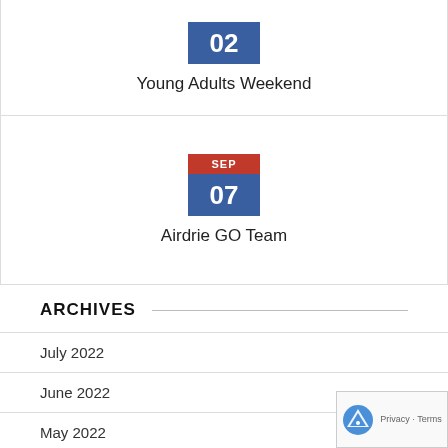[Figure (other): Calendar date badge showing day 02 in blue square]
Young Adults Weekend
[Figure (other): Calendar date badge showing SEP in red and 07 in blue]
Airdrie GO Team
ARCHIVES
July 2022
June 2022
May 2022